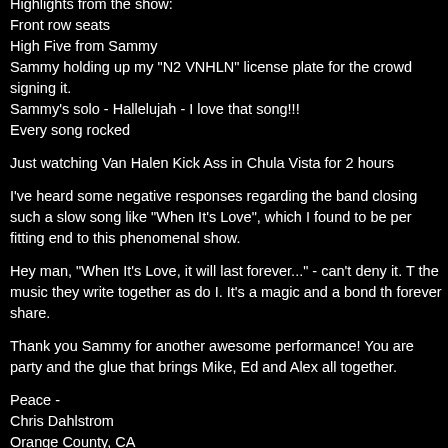Highlights from the show:
Front row seats
High Five from Sammy
Sammy holding up my "N2 VNHLN" license plate for the crowd signing it.
Sammy's solo - Hallelujah - I love that song!!!
Every song rocked
Just watching Van Halen Kick Ass in Chula Vista for 2 hours
I've heard some negative responses regarding the band closing such a slow song like "When It's Love", which I found to be per fitting end to this phenomenal show.
Hey man, "When It's Love, it will last forever..." - can't deny it. T the music they write together as do I. It's a magic and a bond th forever share.
Thank you Sammy for another awesome performance! You are party and the glue that brings Mike, Ed and Alex all together.
Peace -
Chris Dahlstrom
Orange County, CA